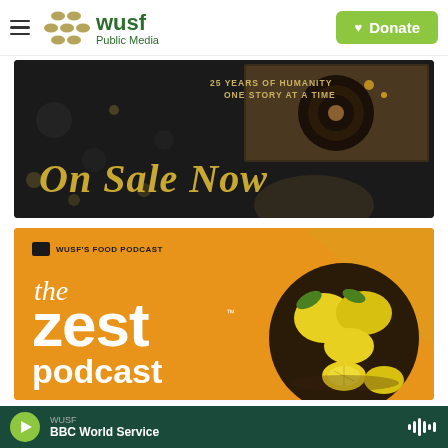WUSF Public Media — Donate
[Figure (photo): Dark themed promotional image with text '25 YEARS OF HUMANITY ONE STORY AT A TIME' and 'On Sale Now' in gold/yellow text on dark background with microphone imagery]
[Figure (photo): WUSF's Food Podcast 'the zest podcast' promotional banner with orange background and image of lemons in a bowl]
WUSF — BBC World Service (audio player bar)